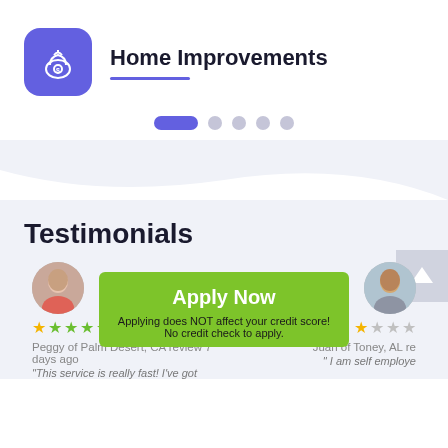[Figure (logo): Blue rounded-square icon with a money bag and dollar sign symbol]
Home Improvements
[Figure (infographic): Pagination dots: one active elongated blue dot followed by four grey circular dots]
Testimonials
[Figure (photo): Circular avatar photo of Peggy, a woman with reddish top, partially visible on left side]
Peggy of Palm Desert, CA review 7 days ago
"This service is really fast! I've got
[Figure (photo): Circular avatar photo of Juan, a man, partially visible on right side]
Juan of Toney, AL re
" I am self employe
Apply Now
Applying does NOT affect your credit score!
No credit check to apply.